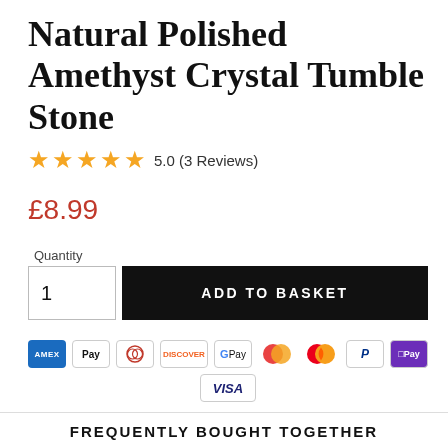Natural Polished Amethyst Crystal Tumble Stone
5.0 (3 Reviews)
£8.99
Quantity
1
ADD TO BASKET
[Figure (other): Payment method icons: American Express, Apple Pay, Diners Club, Discover, Google Pay, Maestro, Mastercard, PayPal, Opayo Pay, Visa]
FREQUENTLY BOUGHT TOGETHER